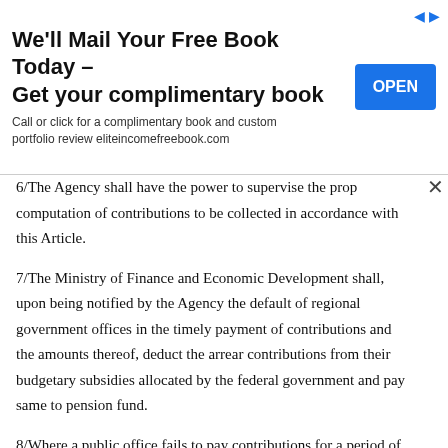[Figure (other): Advertisement banner: 'We'll Mail Your Free Book Today - Get your complimentary book'. Call or click for a complimentary book and custom portfolio review eliteincomefreebook.com. Blue OPEN button on the right.]
6/The Agency shall have the power to supervise the proper computation of contributions to be collected in accordance with this Article.
7/The Ministry of Finance and Economic Development shall, upon being notified by the Agency the default of regional government offices in the timely payment of contributions and the amounts thereof, deduct the arrear contributions from their budgetary subsidies allocated by the federal government and pay same to pension fund.
8/Where a public office fails to pay contributions for a period of more than three months, the Agency or the delegated body shall have the power to cause the deduction of the arrear contributions